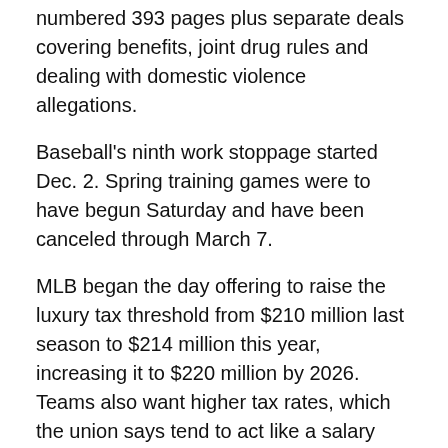numbered 393 pages plus separate deals covering benefits, joint drug rules and dealing with domestic violence allegations.
Baseball's ninth work stoppage started Dec. 2. Spring training games were to have begun Saturday and have been canceled through March 7.
MLB began the day offering to raise the luxury tax threshold from $210 million last season to $214 million this year, increasing it to $220 million by 2026. Teams also want higher tax rates, which the union says tend to act like a salary cap.
RELATED: MLB lockout: Players, owners begin first work stoppage since 1995
Players had asked for a $245 million threshold this year, later cut to $275 million in a five-year